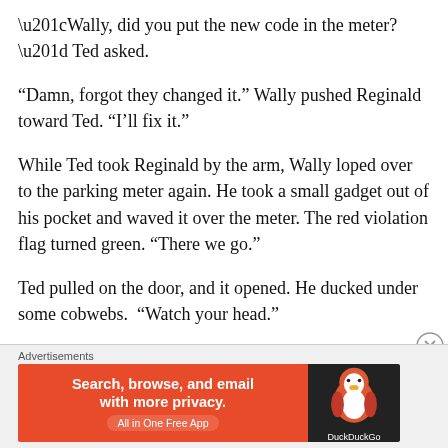“Wally, did you put the new code in the meter?” Ted asked.
“Damn, forgot they changed it.” Wally pushed Reginald toward Ted. “I’ll fix it.”
While Ted took Reginald by the arm, Wally loped over to the parking meter again. He took a small gadget out of his pocket and waved it over the meter. The red violation flag turned green. “There we go.”
Ted pulled on the door, and it opened. He ducked under some cobwebs.  “Watch your head.”
Reginald followed him in. This had to be some kind of joke, right? His birthday was in two weeks. Did Megan
Advertisements
[Figure (infographic): DuckDuckGo advertisement banner: orange left panel reading 'Search, browse, and email with more privacy. All in One Free App' and dark right panel with DuckDuckGo duck logo.]